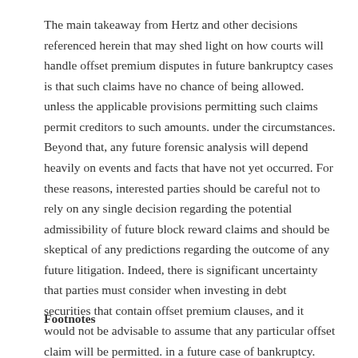The main takeaway from Hertz and other decisions referenced herein that may shed light on how courts will handle offset premium disputes in future bankruptcy cases is that such claims have no chance of being allowed. unless the applicable provisions permitting such claims permit creditors to such amounts. under the circumstances. Beyond that, any future forensic analysis will depend heavily on events and facts that have not yet occurred. For these reasons, interested parties should be careful not to rely on any single decision regarding the potential admissibility of future block reward claims and should be skeptical of any predictions regarding the outcome of any future litigation. Indeed, there is significant uncertainty that parties must consider when investing in debt securities that contain offset premium clauses, and it would not be advisable to assume that any particular offset claim will be permitted. in a future case of bankruptcy.
Footnotes